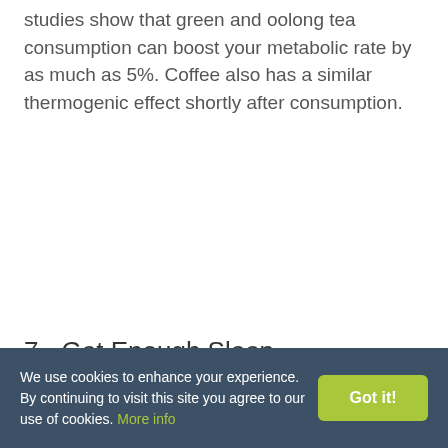studies show that green and oolong tea consumption can boost your metabolic rate by as much as 5%. Coffee also has a similar thermogenic effect shortly after consumption.
7 - Get Enough Sleep.
Sleep has a surprisingly big impact on your
We use cookies to enhance your experience. By continuing to visit this site you agree to our use of cookies. More info